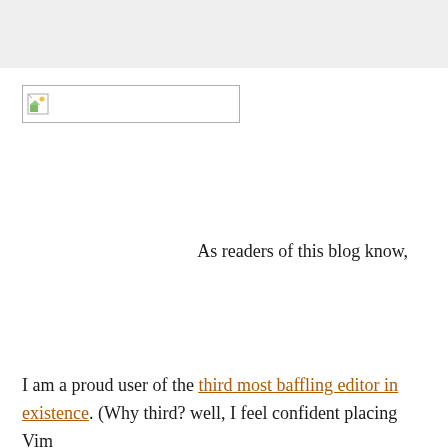[Figure (other): Broken/missing image placeholder with icon, shown as a bordered box with a small broken image icon on the left]
As readers of this blog know,
I am a proud user of the third most baffling editor in existence. (Why third? well, I feel confident placing Vim